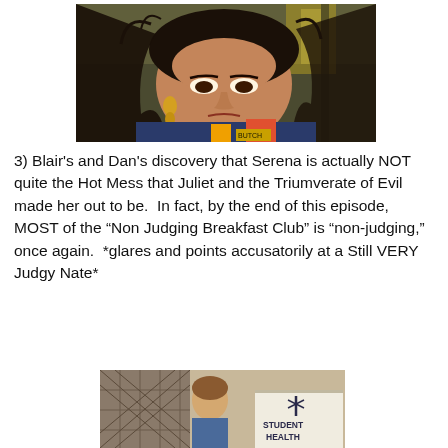[Figure (photo): Close-up photo of a young woman with dark hair and gold earrings, looking downward with a serious expression, outdoors background]
3) Blair's and Dan's discovery that Serena is actually NOT quite the Hot Mess that Juliet and the Triumverate of Evil made her out to be.  In fact, by the end of this episode,  MOST of the “Non Judging Breakfast Club” is “non-judging,” once again.  *glares and points accusatorily at a Still VERY Judgy Nate*
[Figure (photo): Photo of a young man standing outside a building with a 'Student Health' sign visible in the background]